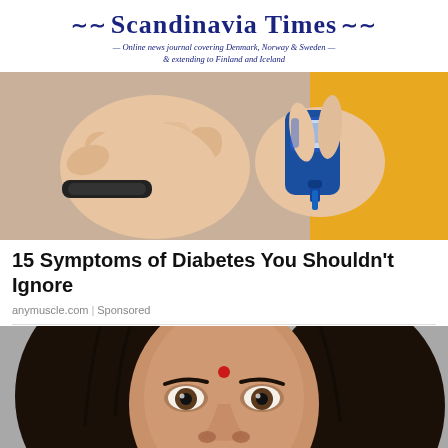Scandinavia Times — Online news journal covering Denmark, Norway & Sweden — & extending to Finland and Iceland
[Figure (photo): Close-up of hands holding a blood glucose meter, person wearing a black fitness tracker bracelet, yellow background on right side]
15 Symptoms of Diabetes You Shouldn't Ignore
anymuscle.com | Sponsored
[Figure (photo): Close-up portrait of a woman with dark hair, brown eyes, and a red bindi on her forehead, gray background]